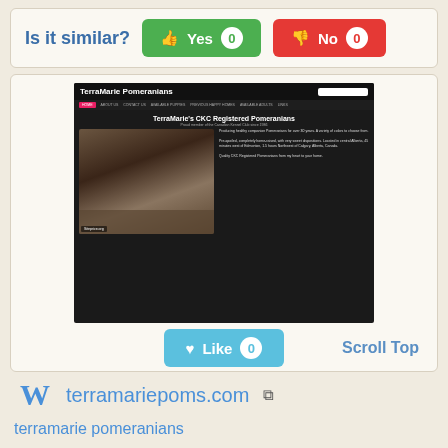Is it similar?
Yes 0
No 0
[Figure (screenshot): Screenshot of TerraMarie Pomeranians website showing a puppy image and website content with Siteprice.org watermark]
Like 0
Scroll Top
terramariepoms.com
terramarie pomeranians
pomeranian puppies for sale